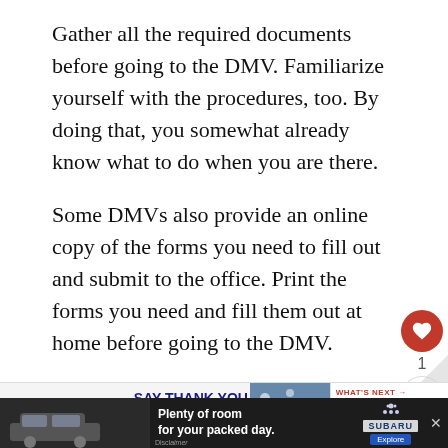Gather all the required documents before going to the DMV. Familiarize yourself with the procedures, too. By doing that, you somewhat already know what to do when you are there.
Some DMVs also provide an online copy of the forms you need to fill out and submit to the office. Print the forms you need and fill them out at home before going to the DMV.
[Figure (infographic): Operation Gratitude advertisement banner: Say Thank You to Deployed Troops, with logo and patriotic imagery]
[Figure (infographic): Subaru advertisement: Plenty of room for your packed day, showing a Subaru SUV with Explore button]